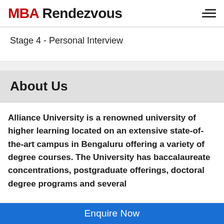MBA Rendezvous
Stage 4 - Personal Interview
About Us
Alliance University is a renowned university of higher learning located on an extensive state-of-the-art campus in Bengaluru offering a variety of degree courses. The University has baccalaureate concentrations, postgraduate offerings, doctoral degree programs and several
Enquire Now